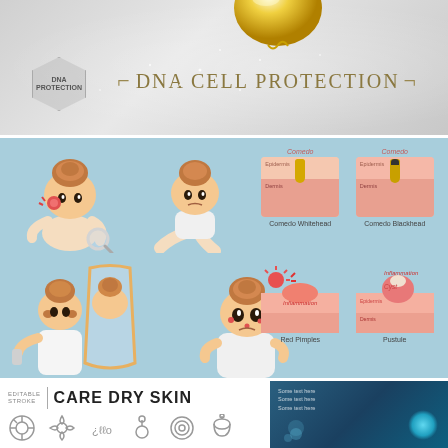[Figure (infographic): DNA Cell Protection banner with gold sphere, silver sparkle background, hexagon logo and golden bracket title text]
[Figure (infographic): Skin care infographic on blue background showing cartoon girls with acne problems, comedo whitehead and blackhead diagrams, red pimples and pustule inflammation diagrams]
[Figure (infographic): Care Dry Skin section with icons and dark blue panel with glowing sphere]